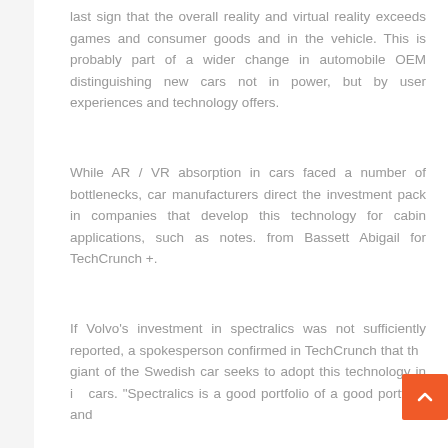last sign that the overall reality and virtual reality exceeds games and consumer goods and in the vehicle. This is probably part of a wider change in automobile OEM distinguishing new cars not in power, but by user experiences and technology offers.
While AR / VR absorption in cars faced a number of bottlenecks, car manufacturers direct the investment pack in companies that develop this technology for cabin applications, such as notes. from Bassett Abigail for TechCrunch +.
If Volvo's investment in spectralics was not sufficiently reported, a spokesperson confirmed in TechCrunch that the giant of the Swedish car seeks to adopt this technology in its cars. "Spectralics is a good portfolio of a good portfolio and